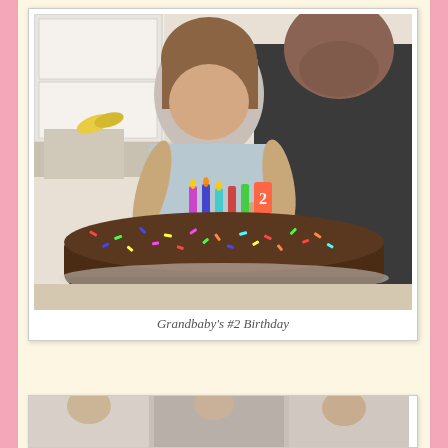[Figure (photo): A young toddler girl leaning over a large round chocolate cake covered with colorful sprinkles and birthday candles, being held by a man (father/grandfather) in a kitchen setting.]
Grandbaby's #2 Birthday
[Figure (photo): Partial view of another photo at the bottom of the page, partially cut off.]